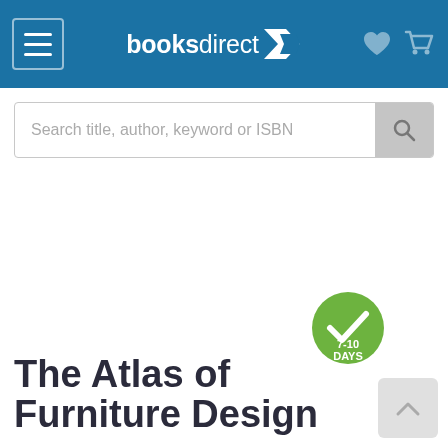booksdirect
Search title, author, keyword or ISBN
[Figure (illustration): Book cover placeholder area (white space)]
[Figure (infographic): Green circular badge with white checkmark and text '7-10 DAYS']
The Atlas of Furniture Design